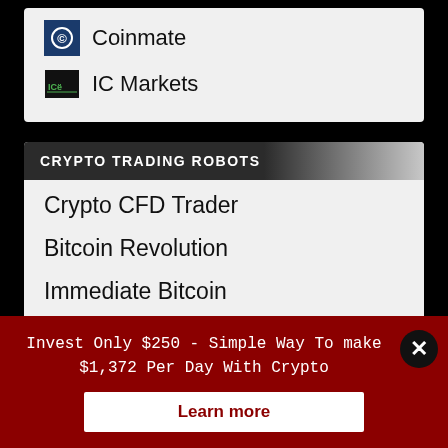Coinmate
IC Markets
CRYPTO TRADING ROBOTS
Crypto CFD Trader
Bitcoin Revolution
Immediate Bitcoin
Crypto Cash App
Crypto Engine Bot
Crypto Comeback Pro
Invest Only $250 - Simple Way To make $1,372 Per Day With Crypto
Learn more